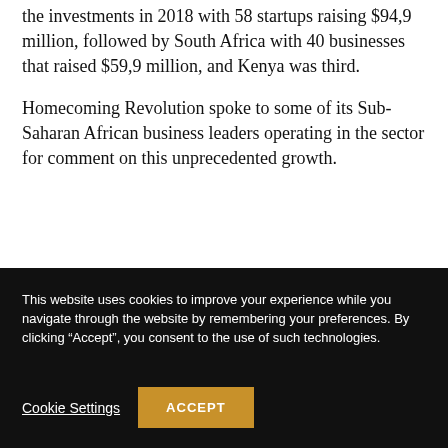the investments in 2018 with 58 startups raising $94,9 million, followed by South Africa with 40 businesses that raised $59,9 million, and Kenya was third.
Homecoming Revolution spoke to some of its Sub-Saharan African business leaders operating in the sector for comment on this unprecedented growth.
This website uses cookies to improve your experience while you navigate through the website by remembering your preferences. By clicking “Accept”, you consent to the use of such technologies.
Cookie Settings
ACCEPT